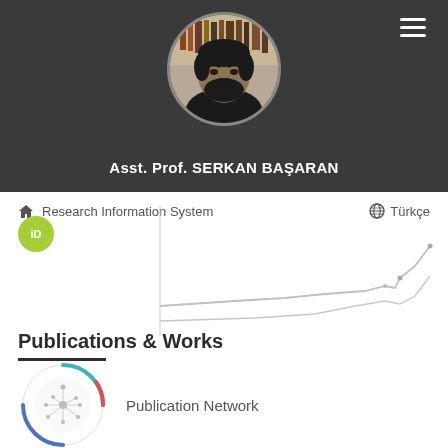[Figure (photo): Circular profile photo of Asst. Prof. Serkan Başaran, a man with dark beard]
Asst. Prof. SERKAN BAŞARAN
Research Information System   Türkçe
[Figure (other): ORCID iD green circular badge with 'iD' text]
[Figure (line-chart): Light grey line chart showing publication/citation trend over time with upward trend]
Publications & Works
[Figure (network-graph): Circular publication network diagram with colored arcs (teal, red, blue) and white network nodes inside]
Publication Network